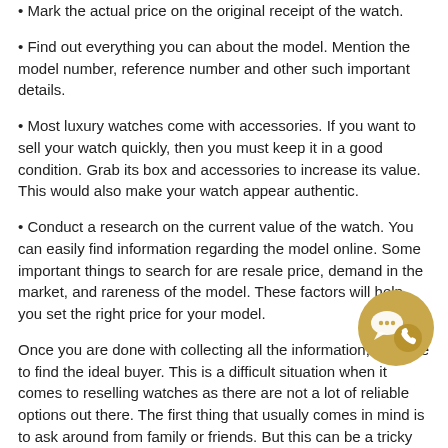• Mark the actual price on the original receipt of the watch.
• Find out everything you can about the model. Mention the model number, reference number and other such important details.
• Most luxury watches come with accessories. If you want to sell your watch quickly, then you must keep it in a good condition. Grab its box and accessories to increase its value. This would also make your watch appear authentic.
• Conduct a research on the current value of the watch. You can easily find information regarding the model online. Some important things to search for are resale price, demand in the market, and rareness of the model. These factors will help you set the right price for your model.
Once you are done with collecting all the information, it is time to find the ideal buyer. This is a difficult situation when it comes to reselling watches as there are not a lot of reliable options out there. The first thing that usually comes in mind is to ask around from family or friends. But this can be a tricky situation as they will expect you to reduce the price as much as possible.
The safest option is to look for a reliable watch resale business. The Watch Company is the most trusted and reputed watch resale business that can help you in getting the exact price for your watch that you may have anticipated. A medium like ours offers utmost safety, a good resale price, and quick service.
[Figure (illustration): A gold/tan circular chat/messaging icon with speech bubble and phone symbols]